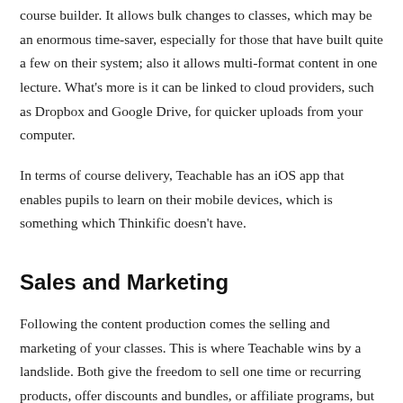course builder. It allows bulk changes to classes, which may be an enormous time-saver, especially for those that have built quite a few on their system; also it allows multi-format content in one lecture. What’s more is it can be linked to cloud providers, such as Dropbox and Google Drive, for quicker uploads from your computer.
In terms of course delivery, Teachable has an iOS app that enables pupils to learn on their mobile devices, which is something which Thinkific doesn’t have.
Sales and Marketing
Following the content production comes the selling and marketing of your classes. This is where Teachable wins by a landslide. Both give the freedom to sell one time or recurring products, offer discounts and bundles, or affiliate programs, but Teachable has more options. The real clincher is Teachable’s 1-step checkout process, which decreases customer fallout (which happens more